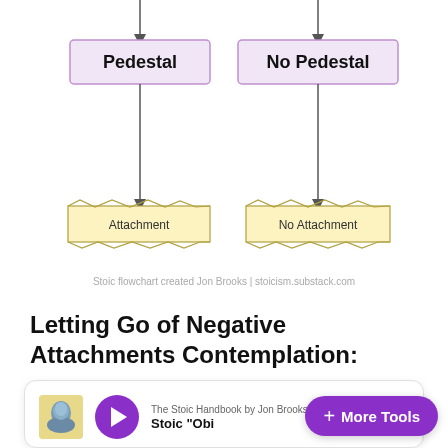[Figure (flowchart): Flowchart showing two branches: left branch has 'Pedestal' node leading to 'Attachment' node; right branch has 'No Pedestal' node leading to 'No Attachment' node. Attribution: 'Stoic flowchart created Jon Brooks | stoicism.substack.com']
Letting Go of Negative Attachments Contemplation:
[Figure (screenshot): Audio player card showing: album art (yellow background with blue stone bust), purple play button, text 'The Stoic Handbook by Jon Brooks' and 'Stoic "Obi...' (truncated), with waveform at bottom. Overlapping purple pill-shaped button with '+ More Tools'.]